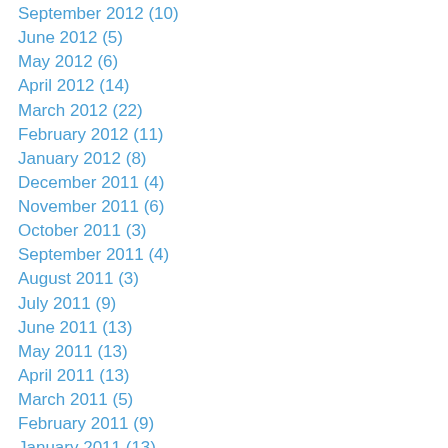September 2012 (10)
June 2012 (5)
May 2012 (6)
April 2012 (14)
March 2012 (22)
February 2012 (11)
January 2012 (8)
December 2011 (4)
November 2011 (6)
October 2011 (3)
September 2011 (4)
August 2011 (3)
July 2011 (9)
June 2011 (13)
May 2011 (13)
April 2011 (13)
March 2011 (5)
February 2011 (9)
January 2011 (13)
December 2010 (10)